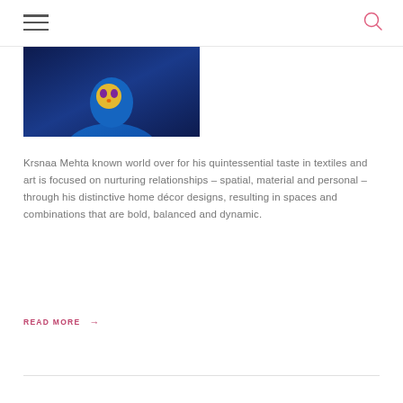[Figure (photo): Dark photograph showing a person wearing a colorful mask/face covering against a dark blue background]
Krsnaa Mehta known world over for his quintessential taste in textiles and art is focused on nurturing relationships – spatial, material and personal – through his distinctive home décor designs, resulting in spaces and combinations that are bold, balanced and dynamic.
READ MORE →